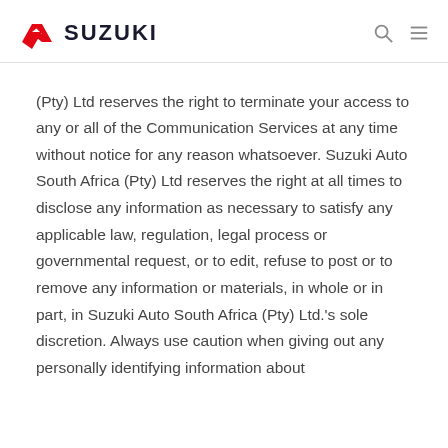SUZUKI
(Pty) Ltd reserves the right to terminate your access to any or all of the Communication Services at any time without notice for any reason whatsoever. Suzuki Auto South Africa (Pty) Ltd reserves the right at all times to disclose any information as necessary to satisfy any applicable law, regulation, legal process or governmental request, or to edit, refuse to post or to remove any information or materials, in whole or in part, in Suzuki Auto South Africa (Pty) Ltd.'s sole discretion. Always use caution when giving out any personally identifying information about